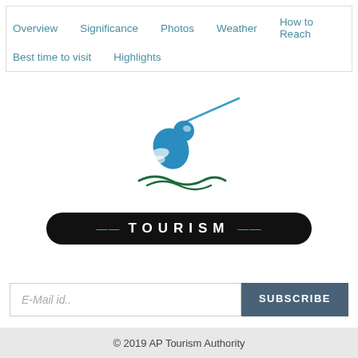Overview   Significance   Photos   Weather   How to Reach   Best time to visit   Highlights
[Figure (logo): AP Tourism logo: a stylized blue bird/dancer figure with a blue diagonal line above and green wave beneath, with 'TOURISM' text in white on a black pill-shaped badge below]
E-Mail id..
© 2019 AP Tourism Authority